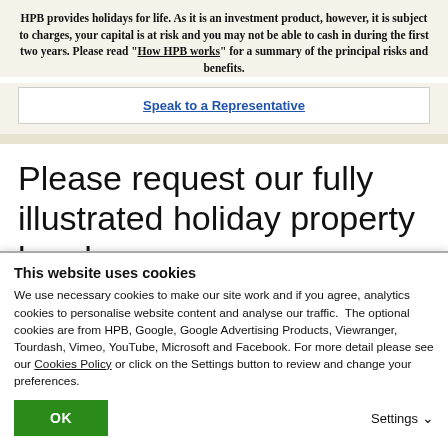HPB provides holidays for life. As it is an investment product, however, it is subject to charges, your capital is at risk and you may not be able to cash in during the first two years. Please read "How HPB works" for a summary of the principal risks and benefits.
Speak to a Representative
Please request our fully illustrated holiday property brochure
This website uses cookies
We use necessary cookies to make our site work and if you agree, analytics cookies to personalise website content and analyse our traffic.  The optional cookies are from HPB, Google, Google Advertising Products, Viewranger, Tourdash, Vimeo, YouTube, Microsoft and Facebook. For more detail please see our Cookies Policy or click on the Settings button to review and change your preferences.